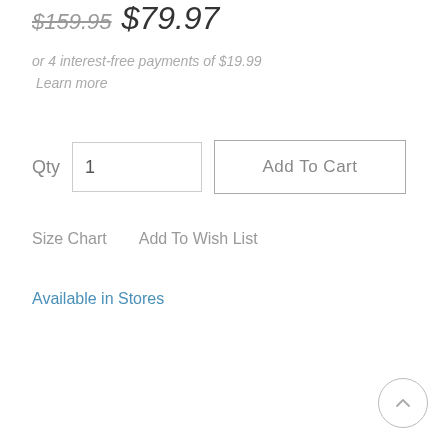$159.95  $79.97
or 4 interest-free payments of $19.99  Learn more
Qty  1  Add To Cart
Size Chart    Add To Wish List
Available in Stores